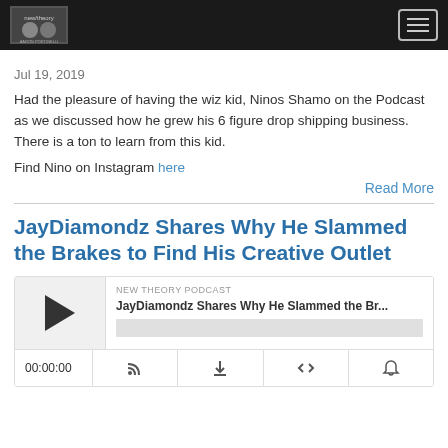New Theory Podcast with Aaron Porcelli — site header with hamburger menu
Jul 19, 2019
Had the pleasure of having the wiz kid, Ninos Shamo on the Podcast as we discussed how he grew his 6 figure drop shipping business.  There is a ton to learn from this kid.
Find Nino on Instagram here
Read More
JayDiamondz Shares Why He Slammed the Brakes to Find His Creative Outlet
[Figure (other): Podcast audio player widget showing NEW THEORY PODCAST label, episode title 'JayDiamondz Shares Why He Slammed the Br...', play button, progress bar, time display 00:00:00, and control icons for RSS feed, download, embed code, and share.]